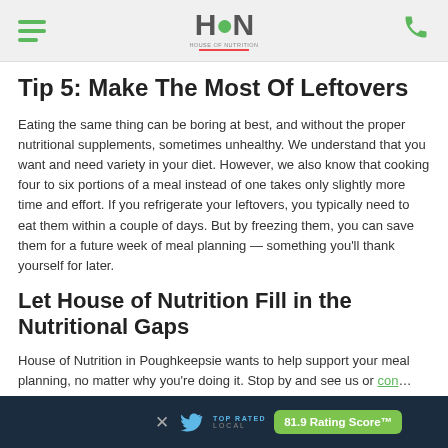HON - House of Nutrition (logo header bar)
Tip 5: Make The Most Of Leftovers
Eating the same thing can be boring at best, and without the proper nutritional supplements, sometimes unhealthy. We understand that you want and need variety in your diet. However, we also know that cooking four to six portions of a meal instead of one takes only slightly more time and effort. If you refrigerate your leftovers, you typically need to eat them within a couple of days. But by freezing them, you can save them for a future week of meal planning — something you'll thank yourself for later.
Let House of Nutrition Fill in the Nutritional Gaps
House of Nutrition in Poughkeepsie wants to help support your meal planning, no matter why you're doing it. Stop by and see us or con… well as pro tips on…
TOP RATED LOCAL — 81.9 Rating Score™